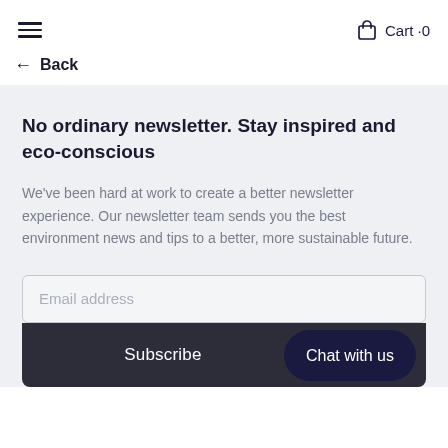≡  Cart ·0
← Back
No ordinary newsletter. Stay inspired and eco-conscious
We've been hard at work to create a better newsletter experience. Our newsletter team sends you the best environment news and tips to a better, more sustainable future.
Email address
Subscribe  Chat with us